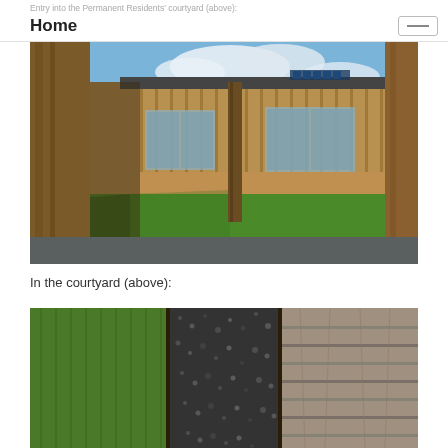Entry into the Permanent Residents' courtyard (above):
Home
[Figure (photo): View into a courtyard of a wooden building with vertical timber cladding, sliding glass doors, and a green lawn in the center. Blue sky with clouds visible above the roofline which has solar panels.]
In the courtyard (above):
[Figure (photo): Close-up ground-level photo showing three sections: green grass on the left, dark gravel/aggregate in the middle, and weathered wood decking planks on the right.]